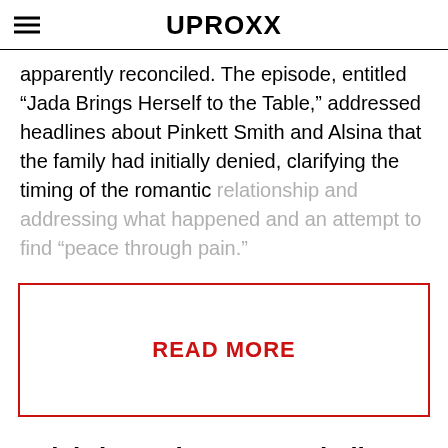UPROXX
apparently reconciled. The episode, entitled “Jada Brings Herself to the Table,” addressed headlines about Pinkett Smith and Alsina that the family had initially denied, clarifying the timing of the romantic relationship and addressing what happened and an attempt to find “peace through pain.”
READ MORE
Celebrity Trainer Don Saladino Shares His Personal Beach Workout